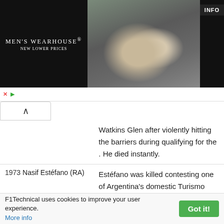[Figure (photo): Men's Wearhouse advertisement banner showing a couple in formal wear and a man in a suit, with INFO button on dark background]
| Year/Driver | Description |
| --- | --- |
|  | Watkins Glen after violently hitting the barriers during qualifying for the . He died instantly. |
| 1973 Nasif Estéfano (RA) | Est&eacute;fano was killed contesting one of Argentina's domestic Turismo Carratera endurance events. |
| 1974 Peter Revson (USA) | During a practice run for |
F1Technical uses cookies to improve your user experience. More info